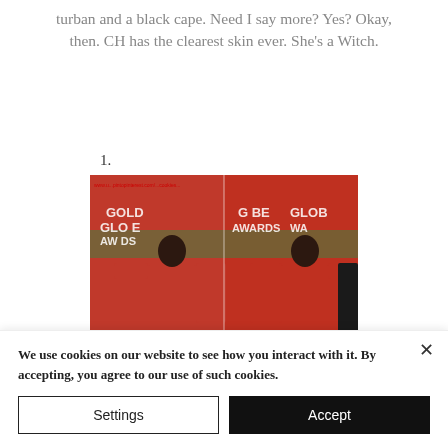turban and a black cape. Need I say more? Yes? Okay, then. CH has the clearest skin ever. She's a Witch.
1.
[Figure (photo): Two side-by-side photos of a woman wearing a red off-shoulder cape dress at the Golden Globe Awards red carpet event. Text on backdrop reads 'Golden Globe Awards' repeated.]
We use cookies on our website to see how you interact with it. By accepting, you agree to our use of such cookies.